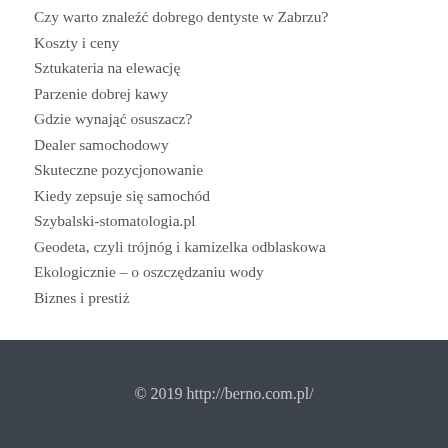Czy warto znaleźć dobrego dentyste w Zabrzu?
Koszty i ceny
Sztukateria na elewację
Parzenie dobrej kawy
Gdzie wynająć osuszacz?
Dealer samochodowy
Skuteczne pozycjonowanie
Kiedy zepsuje się samochód
Szybalski-stomatologia.pl
Geodeta, czyli trójnóg i kamizelka odblaskowa
Ekologicznie – o oszczędzaniu wody
Biznes i prestiż
© 2019 http://berno.com.pl/